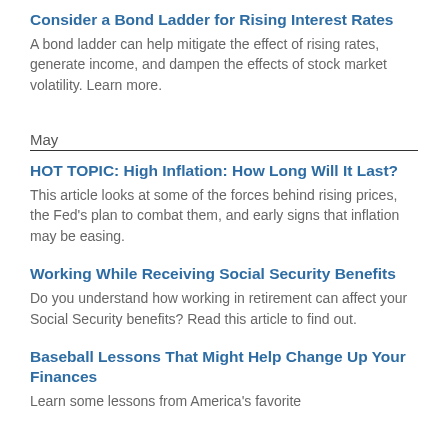Consider a Bond Ladder for Rising Interest Rates
A bond ladder can help mitigate the effect of rising rates, generate income, and dampen the effects of stock market volatility. Learn more.
May
HOT TOPIC: High Inflation: How Long Will It Last?
This article looks at some of the forces behind rising prices, the Fed's plan to combat them, and early signs that inflation may be easing.
Working While Receiving Social Security Benefits
Do you understand how working in retirement can affect your Social Security benefits? Read this article to find out.
Baseball Lessons That Might Help Change Up Your Finances
Learn some lessons from America's favorite